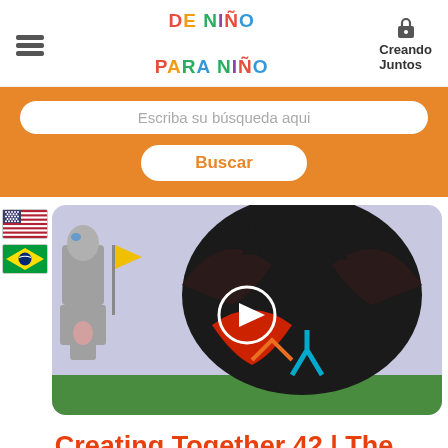DE NIÑO PARA NIÑO
Creando Juntos
[Figure (screenshot): Orange search banner with white rounded search input field labeled 'Escriba su búsqueda aqui' and a white Buscar button with orange text]
[Figure (illustration): Video thumbnail showing children's drawings of fantasy characters including a grey humanoid figure and a dark winged creature with a play button overlay. Flags of USA and Brazil shown to the left.]
Creating Together 42 | The battle